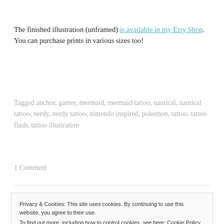The finished illustration (unframed) is available in my Etsy Shop. You can purchase prints in various sizes too!
Tagged anchor, gamer, mermaid, mermaid tattoo, nautical, nautical tattoo, nerdy, nerdy tattoo, nintendo inspired, pokemon, tattoo, tattoo flash, tattoo illustration
1 Comment
Privacy & Cookies: This site uses cookies. By continuing to use this website, you agree to their use. To find out more, including how to control cookies, see here: Cookie Policy